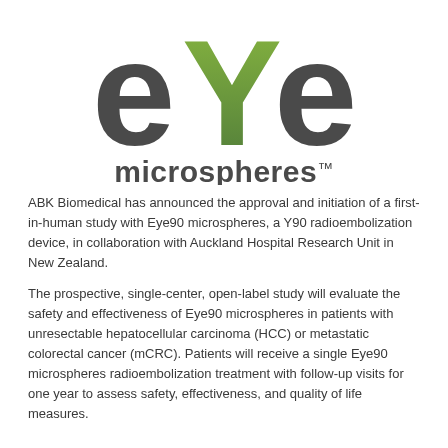[Figure (logo): eYe microspheres logo — large stylized lowercase 'e', 'Y' in green gradient, 'e' in dark gray, with 'microspheres™' below in dark gray bold text]
ABK Biomedical has announced the approval and initiation of a first-in-human study with Eye90 microspheres, a Y90 radioembolization device, in collaboration with Auckland Hospital Research Unit in New Zealand.
The prospective, single-center, open-label study will evaluate the safety and effectiveness of Eye90 microspheres in patients with unresectable hepatocellular carcinoma (HCC) or metastatic colorectal cancer (mCRC). Patients will receive a single Eye90 microspheres radioembolization treatment with follow-up visits for one year to assess safety, effectiveness, and quality of life measures.